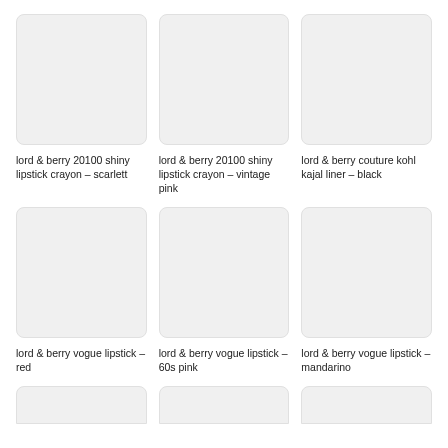[Figure (photo): Product image placeholder for lord & berry 20100 shiny lipstick crayon – scarlett]
lord & berry 20100 shiny lipstick crayon – scarlett
[Figure (photo): Product image placeholder for lord & berry 20100 shiny lipstick crayon – vintage pink]
lord & berry 20100 shiny lipstick crayon – vintage pink
[Figure (photo): Product image placeholder for lord & berry couture kohl kajal liner – black]
lord & berry couture kohl kajal liner – black
[Figure (photo): Product image placeholder for lord & berry vogue lipstick – red]
lord & berry vogue lipstick – red
[Figure (photo): Product image placeholder for lord & berry vogue lipstick – 60s pink]
lord & berry vogue lipstick – 60s pink
[Figure (photo): Product image placeholder for lord & berry vogue lipstick – mandarino]
lord & berry vogue lipstick – mandarino
[Figure (photo): Product image placeholder (partial, row 3, item 1)]
[Figure (photo): Product image placeholder (partial, row 3, item 2)]
[Figure (photo): Product image placeholder (partial, row 3, item 3)]